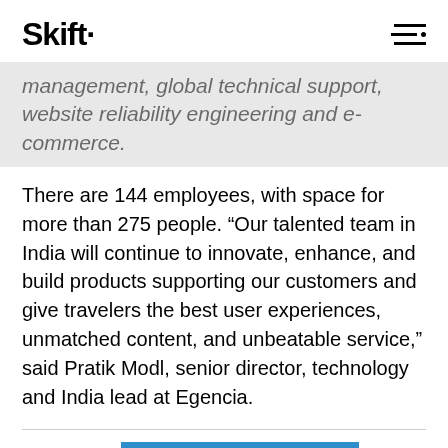Skift
management, global technical support, website reliability engineering and e-commerce.
There are 144 employees, with space for more than 275 people. “Our talented team in India will continue to innovate, enhance, and build products supporting our customers and give travelers the best user experiences, unmatched content, and unbeatable service,” said Pratik Modl, senior director, technology and India lead at Egencia.
[Figure (other): Blue banner/advertisement block at bottom of page]